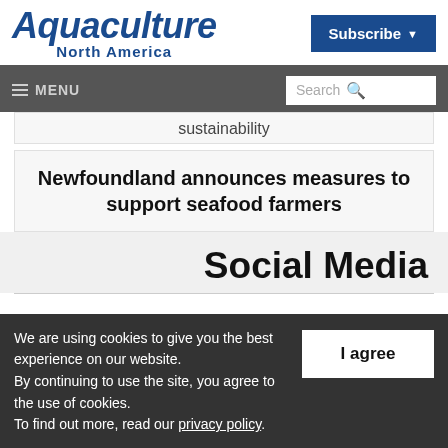Aquaculture North America
sustainability
Newfoundland announces measures to support seafood farmers
Social Media
We are using cookies to give you the best experience on our website. By continuing to use the site, you agree to the use of cookies. To find out more, read our privacy policy.